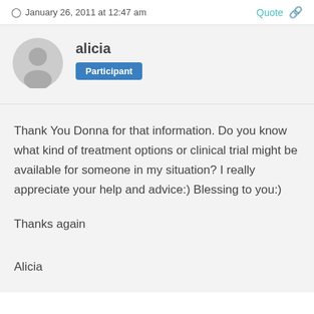January 26, 2011 at 12:47 am
alicia
Participant
Thank You Donna for that information.  Do you know what kind of treatment options or clinical trial might be available for someone in my situation?  I really appreciate your help and advice:)  Blessing to you:)
Thanks again

Alicia